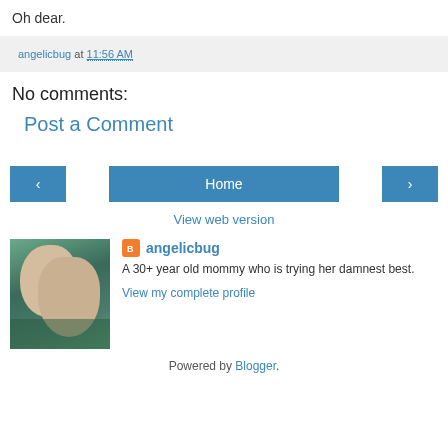Oh dear.
angelicbug at 11:56 AM
No comments:
Post a Comment
‹
Home
›
View web version
[Figure (photo): Profile photo of a woman]
angelicbug
A 30+ year old mommy who is trying her damnest best.
View my complete profile
Powered by Blogger.